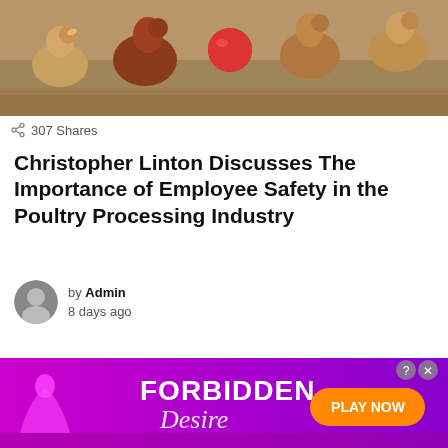[Figure (photo): Chickens/hens in a poultry farm setting with a red feeder visible]
307 Shares
Christopher Linton Discusses The Importance of Employee Safety in the Poultry Processing Industry
by Admin
8 days ago
[Figure (photo): Man with glasses and short dark hair, appears to be Christopher Linton]
[Figure (photo): Advertisement banner: FORBIDDEN Desire - PLAY NOW]